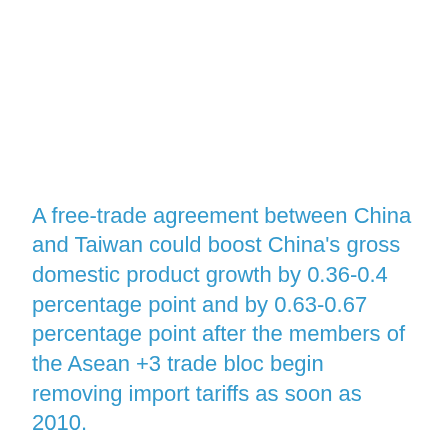A free-trade agreement between China and Taiwan could boost China's gross domestic product growth by 0.36-0.4 percentage point and by 0.63-0.67 percentage point after the members of the Asean +3 trade bloc begin removing import tariffs as soon as 2010.